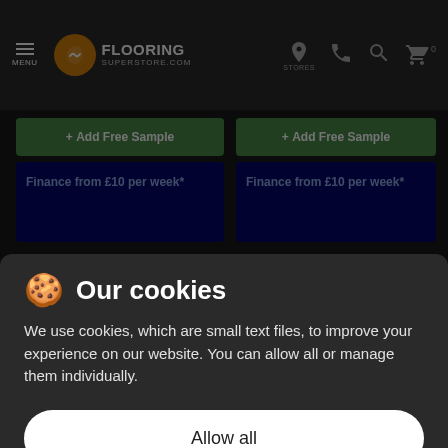MENU | FLOORING SUPERSTORE.COM | STORES
+ Add Free Sample
+ Add Free Sample
Finance from £10 per week*
Finance from £10 per week*
Our cookies
We use cookies, which are small text files, to improve your experience on our website. You can allow all or manage them individually.
Allow all
Manage cookies
16%
15%